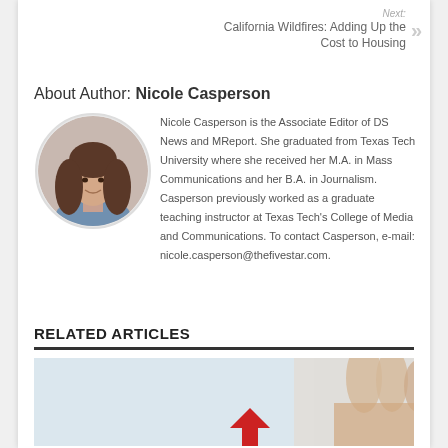Next: California Wildfires: Adding Up the Cost to Housing
About Author: Nicole Casperson
[Figure (photo): Circular headshot of Nicole Casperson, a woman with long brown hair wearing a denim shirt, smiling]
Nicole Casperson is the Associate Editor of DS News and MReport. She graduated from Texas Tech University where she received her M.A. in Mass Communications and her B.A. in Journalism. Casperson previously worked as a graduate teaching instructor at Texas Tech's College of Media and Communications. To contact Casperson, e-mail: nicole.casperson@thefivestar.com.
RELATED ARTICLES
[Figure (photo): Partial image showing hands holding something with a red arrow or object, light blue and beige background]